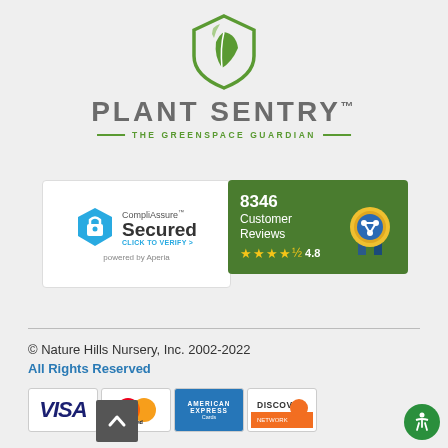[Figure (logo): Plant Sentry shield logo with leaf icon, green color]
PLANT SENTRY™
— THE GREENSPACE GUARDIAN —
[Figure (logo): CompliAssure Secured badge - powered by Aperia, click to verify]
[Figure (infographic): 8346 Customer Reviews badge with 4.8 star rating on green background]
© Nature Hills Nursery, Inc. 2002-2022
All Rights Reserved
[Figure (logo): Payment card logos: VISA, MasterCard, American Express, Discover Network]